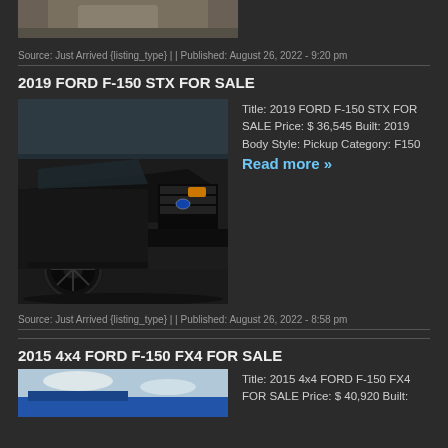[Figure (photo): Partial top of a vehicle image, cropped at top]
Source: Just Arrived {listing_type} | | Published: August 26, 2022 - 9:20 pm
2019 FORD F-150 STX FOR SALE
[Figure (photo): Black Ford F-150 STX pickup truck, front 3/4 view, dark background]
Title: 2019 FORD F-150 STX FOR SALE Price: $ 36,545 Built: 2019 Body Style: Pickup Category: F150 Read more »
Source: Just Arrived {listing_type} | | Published: August 26, 2022 - 8:58 pm
2015 4x4 FORD F-150 FX4 FOR SALE
[Figure (photo): Partial view of a blue Ford F-150 FX4, sky background, cropped at bottom]
Title: 2015 4x4 FORD F-150 FX4 FOR SALE Price: $ 40,920 Built: